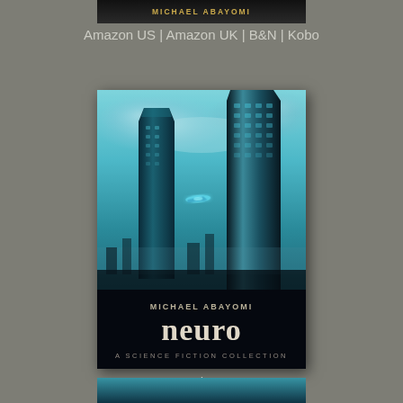[Figure (illustration): Top portion of a book cover for Michael Abayomi, dark background with gold author name text]
Amazon US | Amazon UK | B&N | Kobo
[Figure (illustration): Book cover for 'neuro - A Science Fiction Collection' by Michael Abayomi. Shows futuristic cityscape with tall glass towers and a glowing aircraft flying between them against a teal cloudy sky. Dark bottom section with author name and title text.]
Amazon US | Amazon UK
[Figure (illustration): Bottom strip of another book cover with teal/dark sci-fi imagery, partially visible]